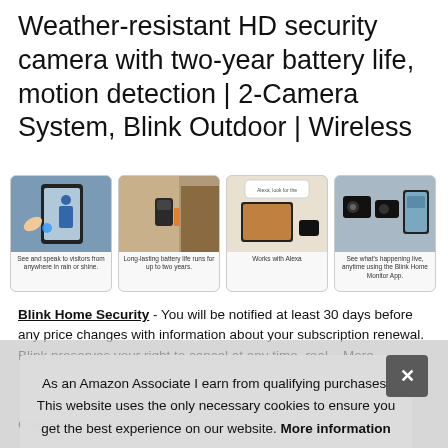Weather-resistant HD security camera with two-year battery life, motion detection | 2-Camera System, Blink Outdoor | Wireless
[Figure (photo): Four product image cards: 1) Person holding phone viewing visitor, caption: See and speak to visitors from anywhere in rain or shine. 2) Camera mounted on wall outdoors, caption: Long-lasting battery life runs for up to two years. 3) Smart display showing camera feed with Alexa, caption: Works with Alexa. 4) Two cameras and phone app view, caption: See what's happening live, anytime using the Blink Home Monitor App.]
Blink Home Security - You will be notified at least 30 days before any price changes with information about your subscription renewal. Blink preserves your right to cancel at any time. real... More...
As an Amazon Associate I earn from qualifying purchases. This website uses the only necessary cookies to ensure you get the best experience on our website. More information
Choose to save and share clips in the cloud with a free trial of